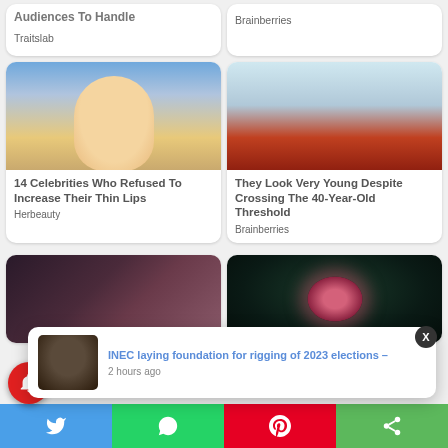Audiences To Handle
Traitslab
Brainberries
[Figure (photo): Blonde woman with surprised expression]
14 Celebrities Who Refused To Increase Their Thin Lips
Herbeauty
[Figure (photo): Older Asian man wearing red jacket and white beanie near Olympic rings sign]
They Look Very Young Despite Crossing The 40-Year-Old Threshold
Brainberries
[Figure (photo): Collage of two women celebrities]
[Figure (photo): Microscopic virus cell glowing pink-red on dark background]
[Figure (photo): Notification thumbnail of man in suit]
INEC laying foundation for rigging of 2023 elections –
2 hours ago